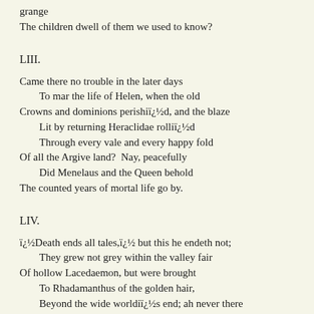grange
The children dwell of them we used to know?
LIII.
Came there no trouble in the later days
    To mar the life of Helen, when the old
Crowns and dominions perishiï¿½d, and the blaze
    Lit by returning Heraclidae rolliï¿½d
    Through every vale and every happy fold
Of all the Argive land?  Nay, peacefully
    Did Menelaus and the Queen behold
The counted years of mortal life go by.
LIV.
ï¿½Death ends all tales,ï¿½ but this he endeth not;
    They grew not grey within the valley fair
Of hollow Lacedaemon, but were brought
    To Rhadamanthus of the golden hair,
    Beyond the wide worldiï¿½s end; ah never there
Comes storm nor snow; all grief is left